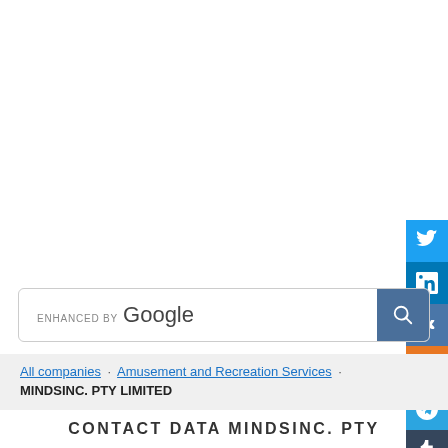[Figure (other): Social media share buttons on right side: Twitter, LinkedIn, VK, Odnoklassniki, Telegram, Tumblr]
[Figure (other): Enhanced by Google search bar with search button]
All companies · Amusement and Recreation Services · MINDSINC. PTY LIMITED
CONTACT DATA MINDSINC. PTY